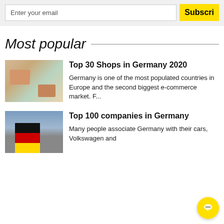Enter your email
Subscri
Most popular
[Figure (photo): Shopping boxes with cart icons on a blue surface, blurred background]
Top 30 Shops in Germany 2020
Germany is one of the most populated countries in Europe and the second biggest e-commerce market. F...
[Figure (photo): Person holding German flag (black, red, gold) against cloudy sky]
Top 100 companies in Germany
Many people associate Germany with their cars, Volkswagen and